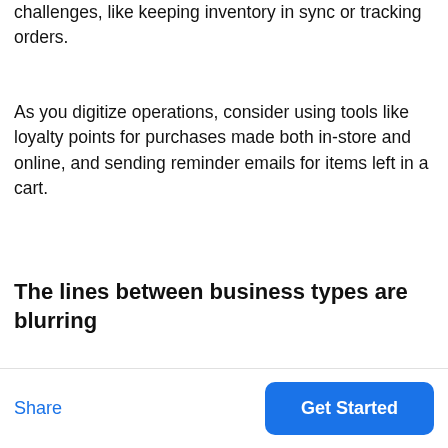first time can create new logistical challenges, like keeping inventory in sync or tracking orders.
As you digitize operations, consider using tools like loyalty points for purchases made both in-store and online, and sending reminder emails for items left in a cart.
The lines between business types are blurring
Traditional distinctions are...
Share | Get Started